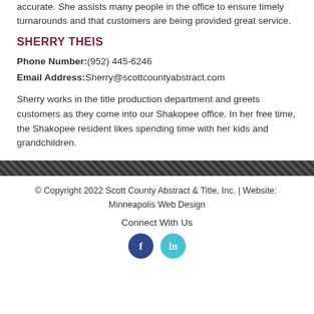accurate. She assists many people in the office to ensure timely turnarounds and that customers are being provided great service.
SHERRY THEIS
Phone Number:(952) 445-6246
Email Address:Sherry@scottcountyabstract.com
Sherry works in the title production department and greets customers as they come into our Shakopee office. In her free time, the Shakopee resident likes spending time with her kids and grandchildren.
© Copyright 2022 Scott County Abstract & Title, Inc. | Website:  Minneapolis Web Design
Connect With Us